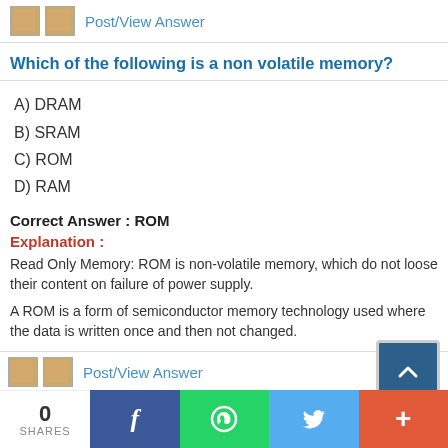Post/View Answer
Which of the following is a non volatile memory?
A) DRAM
B) SRAM
C) ROM
D) RAM
Correct Answer : ROM
Explanation :
Read Only Memory: ROM is non-volatile memory, which do not loose their content on failure of power supply.
A ROM is a form of semiconductor memory technology used where the data is written once and then not changed.
Post/View Answer
0 SHARES